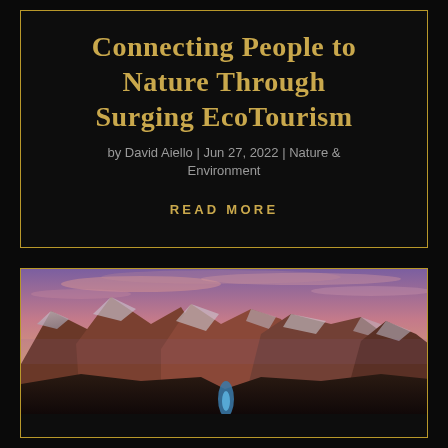Connecting People to Nature Through Surging EcoTourism
by David Aiello | Jun 27, 2022 | Nature & Environment
READ MORE
[Figure (photo): Panoramic photograph of dramatic red rock mountain formations under a purple and pink twilight sky, with a small blue light or reflection visible at the base of the cliffs.]